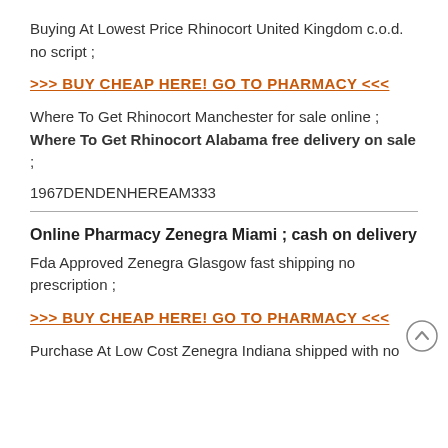Buying At Lowest Price Rhinocort United Kingdom c.o.d. no script ;
>>> BUY CHEAP HERE! GO TO PHARMACY <<<
Where To Get Rhinocort Manchester for sale online ;
Where To Get Rhinocort Alabama free delivery on sale ;
1967DENDENHEREAM333
Online Pharmacy Zenegra Miami ; cash on delivery
Fda Approved Zenegra Glasgow fast shipping no prescription ;
>>> BUY CHEAP HERE! GO TO PHARMACY <<<
Purchase At Low Cost Zenegra Indiana shipped with no